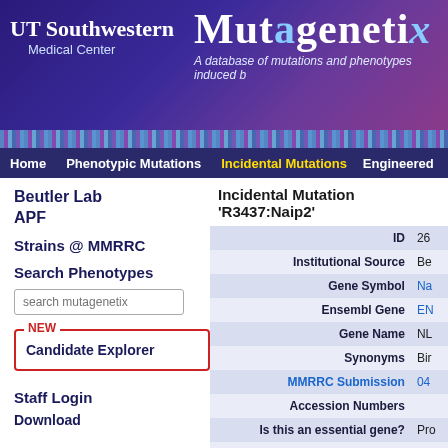[Figure (screenshot): UT Southwestern Medical Center logo in white text on dark purple background]
Mutagenetix
A database of mutations and phenotypes induced b
Home | Phenotypic Mutations | Incidental Mutations | Engineered
Beutler Lab
APF
Strains @ MMRRC
Search Phenotypes
search mutagenetix
NEW Candidate Explorer
Staff Login
Download
Incidental Mutation 'R3437:Naip2'
| Field | Value |
| --- | --- |
| ID | 26 |
| Institutional Source | Be |
| Gene Symbol | Na |
| Ensembl Gene | EN |
| Gene Name | NL |
| Synonyms | Bir |
| MMRRC Submission | 04 |
| Accession Numbers |  |
| Is this an essential gene? | Pro |
| Stock # | R3 |